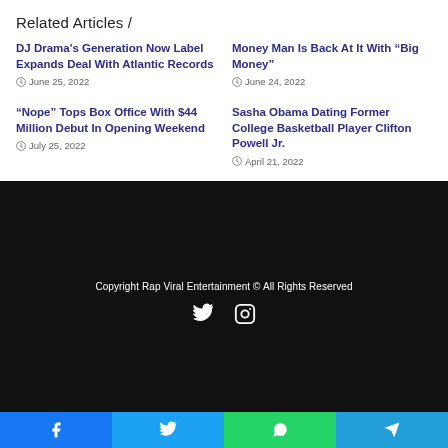Related Articles /
DJ Drama's Generation Now Label Expands Deal With Atlantic Records
June 25, 2022
Money Man Is Back At It With “Big Money”
June 24, 2022
“Nope” Tops Box Office With $44 Million Debut In Opening Weekend
July 25, 2022
Sasha Obama Dating Former College Basketball Player Clifton Powell Jr.
April 21, 2022
Copyright Rap Viral Entertainment © All Rights Reserved